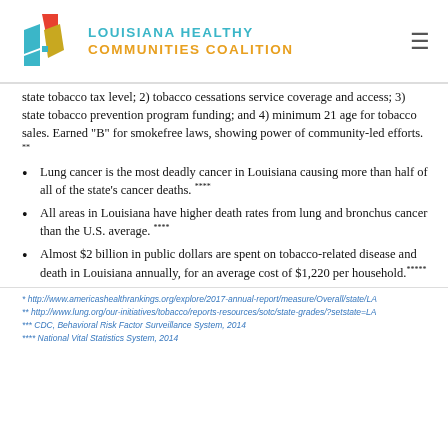Louisiana Healthy Communities Coalition
state tobacco tax level; 2) tobacco cessations service coverage and access; 3) state tobacco prevention program funding; and 4) minimum 21 age for tobacco sales. Earned "B" for smokefree laws, showing power of community-led efforts. **
Lung cancer is the most deadly cancer in Louisiana causing more than half of all of the state's cancer deaths. ****
All areas in Louisiana have higher death rates from lung and bronchus cancer than the U.S. average. ****
Almost $2 billion in public dollars are spent on tobacco-related disease and death in Louisiana annually, for an average cost of $1,220 per household.*****
* http://www.americashealthrankings.org/explore/2017-annual-report/measure/Overall/state/LA
** http://www.lung.org/our-initiatives/tobacco/reports-resources/sotc/state-grades/?setstate=LA
*** CDC, Behavioral Risk Factor Surveillance System, 2014
**** National Vital Statistics System, 2014